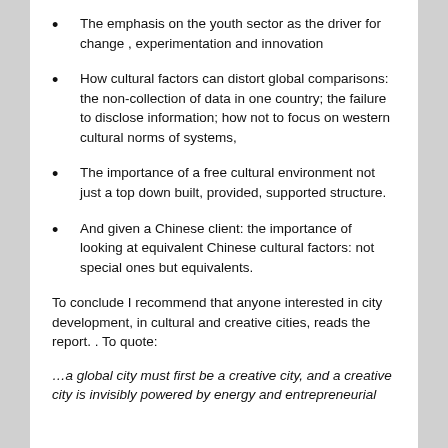The emphasis on the youth sector as the driver for change , experimentation and innovation
How cultural factors can distort global comparisons:  the non-collection of data in one country; the failure to disclose information; how not to focus on western cultural norms of systems,
The importance of a free cultural environment not just a top down built, provided, supported structure.
And given a Chinese client: the importance of looking at equivalent Chinese cultural factors: not special ones but equivalents.
To conclude I recommend that anyone interested in city development, in cultural and creative cities, reads the report.  .   To quote:
…a global city must first be a creative city, and a creative city is invisibly powered by energy and entrepreneurial